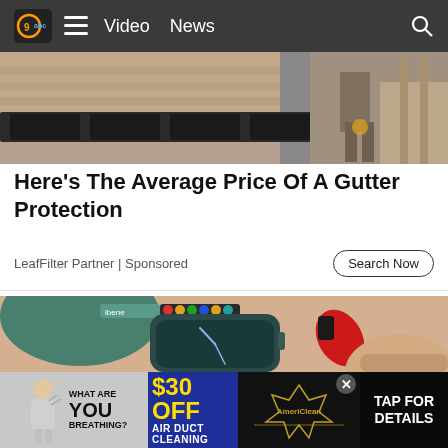Video  News
[Figure (photo): Aerial view of a rooftop gutter with black gutter guards installed, worker visible in background on a ladder]
Here's The Average Price Of A Gutter Protection
LeafFilter Partner | Sponsored
[Figure (photo): Close-up of a smartwatch on a wrist next to a small red and black device held by fingers, with a teal/green circular object in background]
[Figure (infographic): Advertisement banner: WHAT ARE YOU BREATHING? $30 OFF AIR DUCT CLEANING - AmeriClean - TAP FOR DETAILS]